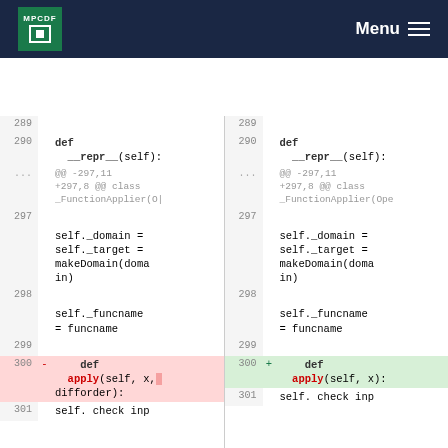MPCDF — Menu
[Figure (screenshot): Side-by-side code diff view showing changes to a Python class method. Left side (old) and right side (new) show line numbers 289-301. Key change at line 300: method signature changed from 'def apply(self, x, difforder):' (deleted, shown in red) to 'def apply(self, x):' (added, shown in green). Context includes __repr__ definition, self._domain, self._target, makeDomain(domain), self._funcname = funcname.]